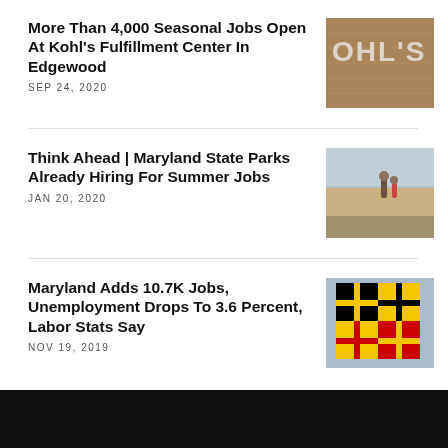More Than 4,000 Seasonal Jobs Open At Kohl's Fulfillment Center In Edgewood
SEP 24, 2020
[Figure (photo): Kohl's store sign showing OHL' letters on a brick background]
Think Ahead | Maryland State Parks Already Hiring For Summer Jobs
JAN 20, 2020
[Figure (photo): People walking on a beach, viewed from behind]
Maryland Adds 10.7K Jobs, Unemployment Drops To 3.6 Percent, Labor Stats Say
NOV 19, 2019
[Figure (photo): Maryland state flag waving against blue sky]
McDonald's To Add 700 New Jobs Across Baltimore, Offer Up To $3K A Year In College Financial Aid
[Figure (photo): McDonald's restaurant interior with worker]